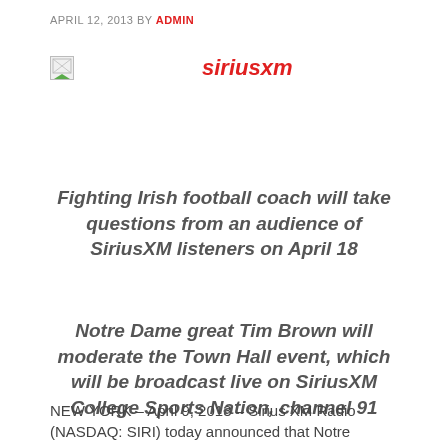APRIL 12, 2013 BY ADMIN
[Figure (logo): SiriusXM logo image placeholder with broken image icon on left and red italic siriusxm text on right]
Fighting Irish football coach will take questions from an audience of SiriusXM listeners on April 18
Notre Dame great Tim Brown will moderate the Town Hall event, which will be broadcast live on SiriusXM College Sports Nation, channel 91
NEW YORK – April 9, 2013 – Sirius XM Radio (NASDAQ: SIRI) today announced that Notre